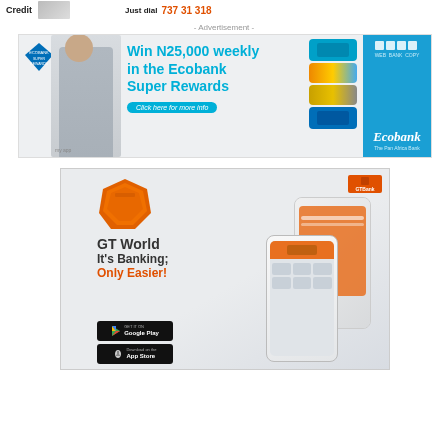[Figure (infographic): Top partial banner showing 'Credit' text, person image, 'Just dial' text and orange phone number]
- Advertisement -
[Figure (infographic): Ecobank Super Rewards advertisement banner. Text: 'Win N25,000 weekly in the Ecobank Super Rewards'. Button: 'Click here for more info'. Ecobank logo on right blue panel.]
[Figure (infographic): GTBank GTWorld app advertisement. Orange faceted logo. Text: 'GT World', 'It's Banking;', 'Only Easier!' in orange. GTBank badge top right. Smartphone images. Google Play and App Store download buttons.]